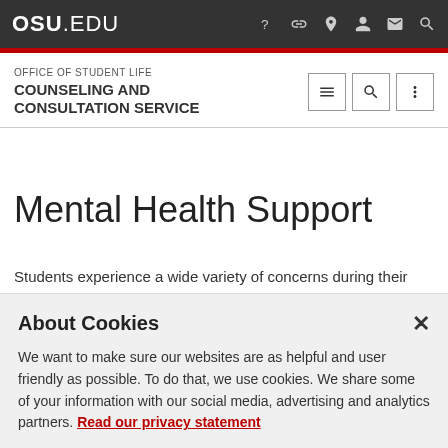OSU.EDU
OFFICE OF STUDENT LIFE
COUNSELING AND CONSULTATION SERVICE
Mental Health Support
Students experience a wide variety of concerns during their time at college. At The Ohio State University there are many resources available to support positive mental health. In
About Cookies
We want to make sure our websites are as helpful and user friendly as possible. To do that, we use cookies. We share some of your information with our social media, advertising and analytics partners. Read our privacy statement